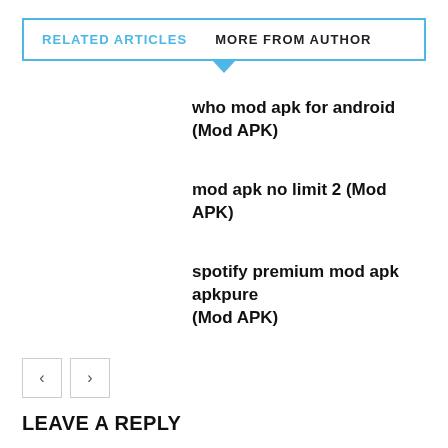RELATED ARTICLES   MORE FROM AUTHOR
who mod apk for android (Mod APK)
mod apk no limit 2 (Mod APK)
spotify premium mod apk apkpure (Mod APK)
LEAVE A REPLY